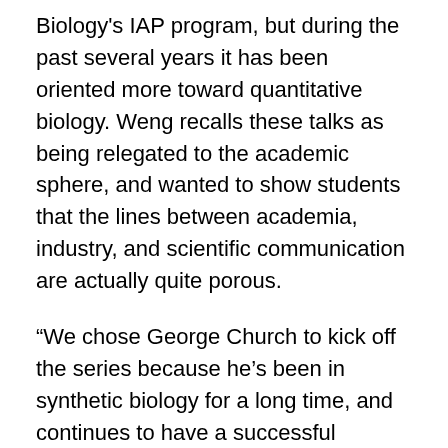Biology's IAP program, but during the past several years it has been oriented more toward quantitative biology. Weng recalls these talks as being relegated to the academic sphere, and wanted to show students that the lines between academia, industry, and scientific communication are actually quite porous.
“We chose George Church to kick off the series because he’s been in synthetic biology for a long time, and continues to have a successful academic career even while starting so many companies,” says Weng.
Church’s genomic sequencing methods inspired the Human Genome Project in 1984 and resulted in the